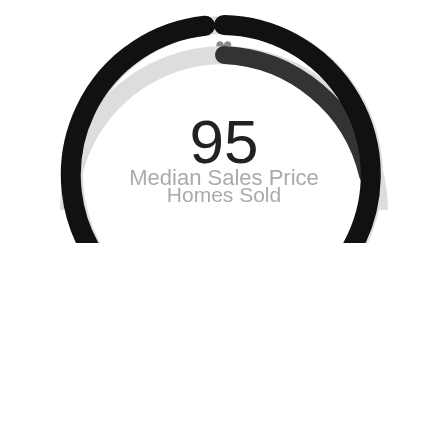[Figure (donut-chart): Partial donut chart (top half visible) for Median Sales Price with a heart icon at top]
[Figure (donut-chart): Homes Sold]